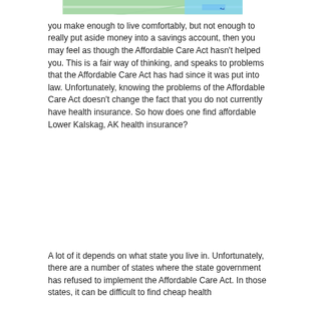[Figure (map): Partial map image showing green terrain and blue water area with a location marker, cropped at top of page]
you make enough to live comfortably, but not enough to really put aside money into a savings account, then you may feel as though the Affordable Care Act hasn't helped you. This is a fair way of thinking, and speaks to problems that the Affordable Care Act has had since it was put into law. Unfortunately, knowing the problems of the Affordable Care Act doesn't change the fact that you do not currently have health insurance. So how does one find affordable Lower Kalskag, AK health insurance?
A lot of it depends on what state you live in. Unfortunately, there are a number of states where the state government has refused to implement the Affordable Care Act. In those states, it can be difficult to find cheap health